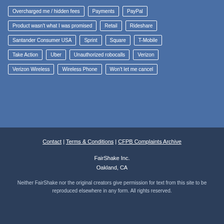Overcharged me / hidden fees
Payments
PayPal
Product wasn't what I was promised
Retail
Rideshare
Santander Consumer USA
Sprint
Square
T-Mobile
Take Action
Uber
Unauthorized robocalls
Verizon
Verizon Wireless
Wireless Phone
Won't let me cancel
Contact | Terms & Conditions | CFPB Complaints Archive
FairShake Inc.
Oakland, CA
Neither FairShake nor the original creators give permission for text from this site to be reproduced elsewhere in any form. All rights reserved.